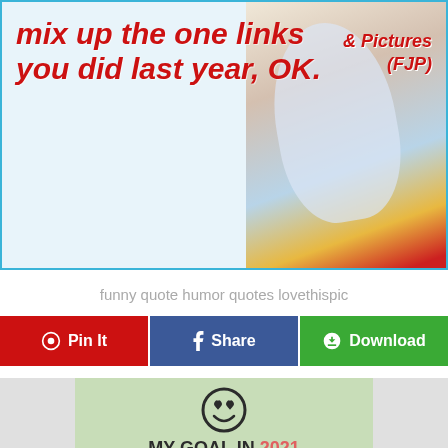[Figure (illustration): Humorous quote image with red italic text reading 'mix up the one links you did last year, OK.' with white cartoon character and colorful background. Side text reads '& Pictures (FJP)']
funny quote humor quotes lovethispic
Pin It  Share  Download
[Figure (illustration): Motivational/humorous image on sage green background with smiley face emoji and bold text reading 'MY GOAL IN 2021 IS TO ACCOMPLISH THE GOALS I SET IN']